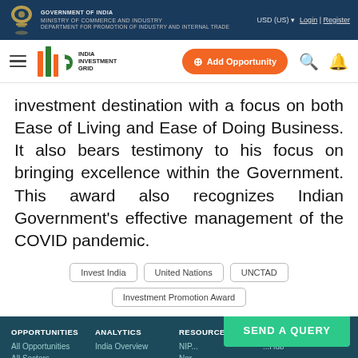GOVERNMENT OF INDIA | MINISTRY OF COMMERCE AND INDUSTRY | DEPARTMENT FOR PROMOTION OF INDUSTRY AND INTERNAL TRADE | USD (US) | Login | Register
[Figure (screenshot): India Investment Grid (IIG) navigation bar with hamburger menu, IIG logo, Add Opportunity button, search icon, and bell icon]
investment destination with a focus on both Ease of Living and Ease of Doing Business. It also bears testimony to his focus on bringing excellence within the Government. This award also recognizes Indian Government's effective management of the COVID pandemic.
Invest India
United Nations
UNCTAD
Investment Promotion Award
OPPORTUNITIES: All Opportunities, All Sectors | ANALYTICS: India Overview | RESOURCES: NIP..., Nor... | EXTERNAL SITE | SEND A QUERY